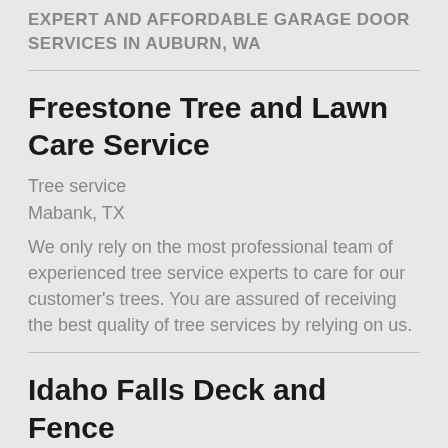EXPERT AND AFFORDABLE GARAGE DOOR SERVICES IN AUBURN, WA
Freestone Tree and Lawn Care Service
Tree service
Mabank, TX
We only rely on the most professional team of experienced tree service experts to care for our customer's trees. You are assured of receiving the best quality of tree services by relying on us.
Idaho Falls Deck and Fence